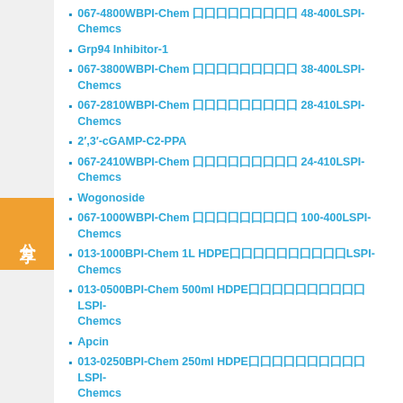067-4800WBPI-Chem 囗囗囗囗囗囗囗囗囗 48-400LSPI-Chemcs
Grp94 Inhibitor-1
067-3800WBPI-Chem 囗囗囗囗囗囗囗囗囗 38-400LSPI-Chemcs
067-2810WBPI-Chem 囗囗囗囗囗囗囗囗囗 28-410LSPI-Chemcs
2′,3′-cGAMP-C2-PPA
067-2410WBPI-Chem 囗囗囗囗囗囗囗囗囗 24-410LSPI-Chemcs
Wogonoside
067-1000WBPI-Chem 囗囗囗囗囗囗囗囗囗 100-400LSPI-Chemcs
013-1000BPI-Chem 1L HDPE囗囗囗囗囗囗囗囗囗囗LSPI-Chemcs
013-0500BPI-Chem 500ml HDPE囗囗囗囗囗囗囗囗囗囗LSPI-Chemcs
Apcin
013-0250BPI-Chem 250ml HDPE囗囗囗囗囗囗囗囗囗囗LSPI-Chemcs
Guanosine triphosphate(Synonyms: GTP)
012-2000BPI-Chem 2L HDPE囗囗囗囗囗囗囗囗囗囗LSPI-Chemcs
012-0950BPI-Chem 950ml HDPE囗囗囗囗囗囗囗囗囗囗LSPI-Chemcs
Curzerene(Synonyms: 囗囗)
012-0500BPI-Chem 500ml HDPE囗囗囗囗囗囗囗囗囗囗LSPI-Chemcs
012-0250BPI-Chem 250ml HDPE囗囗囗囗囗囗囗囗囗囗LSPI-Chemcs
012-0120BPI-Chem 120ml HDPE囗囗囗囗囗囗囗囗囗囗LSPI-Chemcs